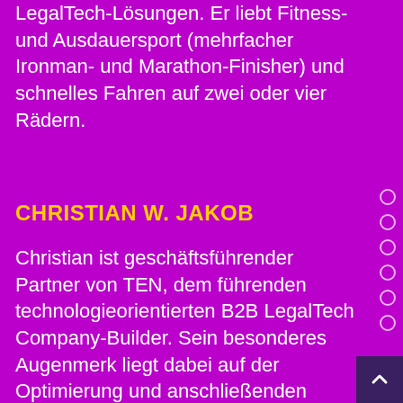LegalTech-Lösungen. Er liebt Fitness- und Ausdauersport (mehrfacher Ironman- und Marathon-Finisher) und schnelles Fahren auf zwei oder vier Rädern.
CHRISTIAN W. JAKOB
Christian ist geschäftsführender Partner von TEN, dem führenden technologieorientierten B2B LegalTech Company-Builder. Sein besonderes Augenmerk liegt dabei auf der Optimierung und anschließenden Automatisierung und Skalierung bestehender Prozesse. Er ist ein Experte für Smart Data und neue Technologien.